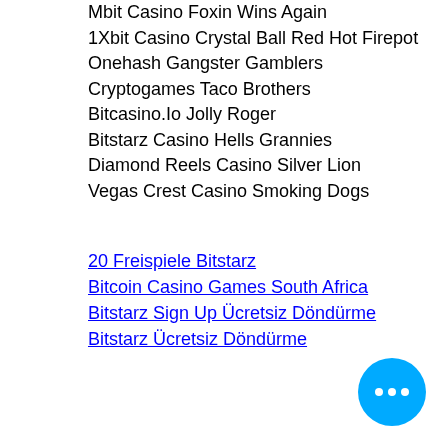Mbit Casino Foxin Wins Again
1Xbit Casino Crystal Ball Red Hot Firepot
Onehash Gangster Gamblers
Cryptogames Taco Brothers
Bitcasino.Io Jolly Roger
Bitstarz Casino Hells Grannies
Diamond Reels Casino Silver Lion
Vegas Crest Casino Smoking Dogs
20 Freispiele Bitstarz
Bitcoin Casino Games South Africa
Bitstarz Sign Up Ücretsiz Döndürme
Bitstarz Ücretsiz Döndürme